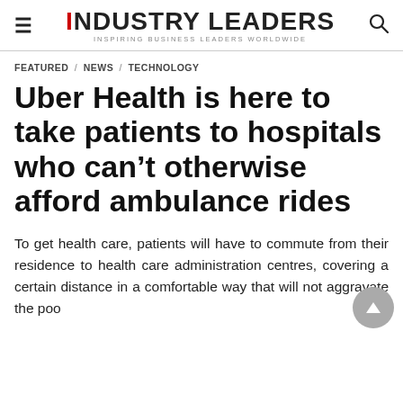INDUSTRY LEADERS — INSPIRING BUSINESS LEADERS WORLDWIDE
FEATURED / NEWS / TECHNOLOGY
Uber Health is here to take patients to hospitals who can't otherwise afford ambulance rides
To get health care, patients will have to commute from their residence to health care administration centres, covering a certain distance in a comfortable way that will not aggravate the poor...